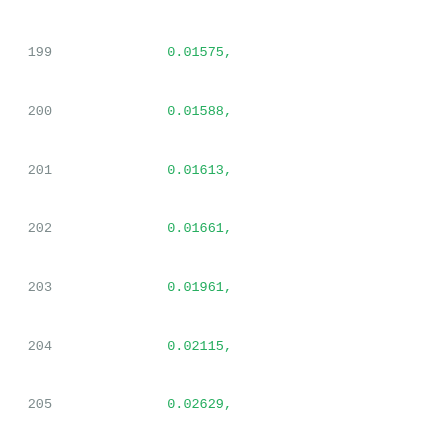Code listing lines 199-220, JSON/Liberty format data with numeric values and timing constraint entries
199    0.01575,
200    0.01588,
201    0.01613,
202    0.01661,
203    0.01961,
204    0.02115,
205    0.02629,
206    0.03075
207        ]
208      }
209    },
210    "max_transition": 1.0,
211    "related_ground_pin": "VGND",
212    "related_power_pin": "VPWR",
213    "timing": [
214      {
215        "fall_constraint,sethold_template_fall1
216          "index_1": [
217            0.01,
218            0.03125,
219            0.0625,
220            0.125,